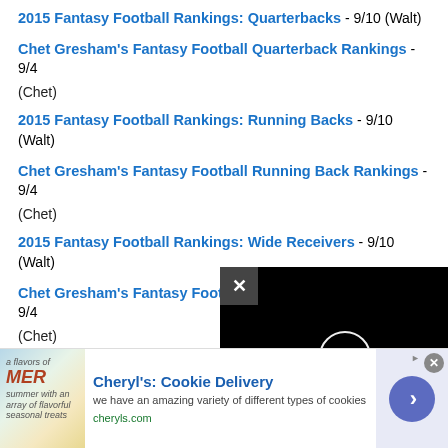2015 Fantasy Football Rankings: Quarterbacks - 9/10 (Walt)
Chet Gresham's Fantasy Football Quarterback Rankings - 9/4 (Chet)
2015 Fantasy Football Rankings: Running Backs - 9/10 (Walt)
Chet Gresham's Fantasy Football Running Back Rankings - 9/4 (Chet)
2015 Fantasy Football Rankings: Wide Receivers - 9/10 (Walt)
Chet Gresham's Fantasy Football Wide Receiver Rankings - 9/4 (Chet)
2015 Fantasy Football Rankings: Tight Ends - 9/10 (Walt)
Chet Gresham's Fantasy Football [truncated by overlay]
Chet Gresham's Fantasy Football [truncated by overlay]
2015 Fantasy Football PPR Rankin... [truncated by overlay]
[Figure (screenshot): Black video player overlay with close (X) button and loading circle]
[Figure (screenshot): Advertisement banner for Cheryl's Cookie Delivery with image, text, and arrow button]